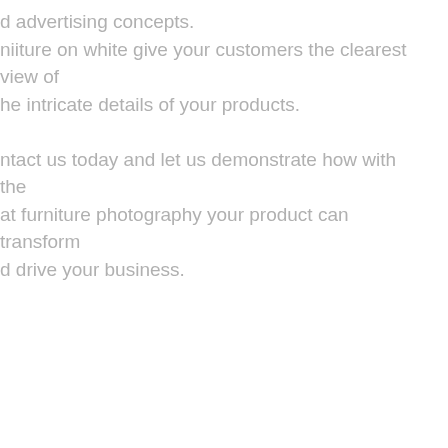d advertising concepts. niiture on white give your customers the clearest view of he intricate details of your products. ntact us today and let us demonstrate how with the at furniture photography your product can transform d drive your business.